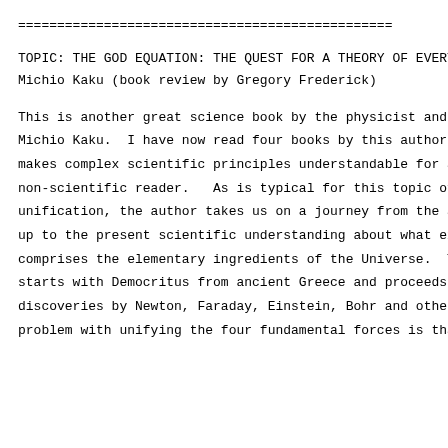================================================================================
TOPIC: THE GOD EQUATION: THE QUEST FOR A THEORY OF EVERYTHING BY Michio Kaku (book review by Gregory Frederick)
This is another great science book by the physicist and author Michio Kaku.  I have now read four books by this author.  He makes complex scientific principles understandable for an non-scientific reader.   As is typical for this topic of unification, the author takes us on a journey from the ancient up to the present scientific understanding about what exactly comprises the elementary ingredients of the Universe.  The book starts with Democritus from ancient Greece and proceeds to discoveries by Newton, Faraday, Einstein, Bohr and others. The problem with unifying the four fundamental forces is that